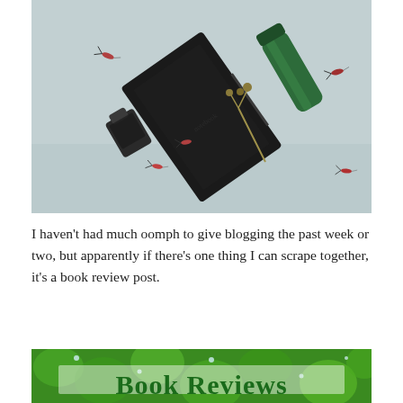[Figure (photo): Flat lay photo of a black notebook, ink bottle, green glass object, dried flowers, and fishing flies arranged on a light blue-grey background.]
I haven't had much oomph to give blogging the past week or two, but apparently if there's one thing I can scrape together, it's a book review post.
[Figure (photo): Bottom portion of an image showing green leaves with water droplets, with a semi-transparent white overlay band and bold green text reading 'Book Reviews'.]